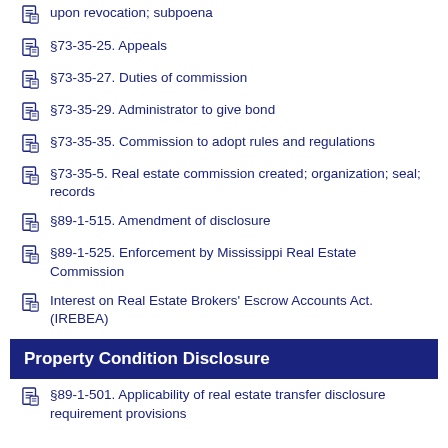upon revocation; subpoena
§73-35-25. Appeals
§73-35-27. Duties of commission
§73-35-29. Administrator to give bond
§73-35-35. Commission to adopt rules and regulations
§73-35-5. Real estate commission created; organization; seal; records
§89-1-515. Amendment of disclosure
§89-1-525. Enforcement by Mississippi Real Estate Commission
Interest on Real Estate Brokers' Escrow Accounts Act. (IREBEA)
Property Condition Disclosure
§89-1-501. Applicability of real estate transfer disclosure requirement provisions